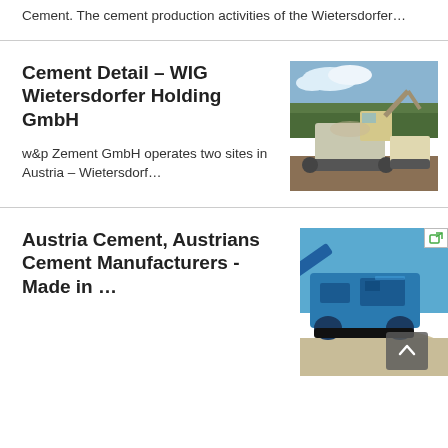Cement. The cement production activities of the Wietersdorfer…
Cement Detail – WIG Wietersdorfer Holding GmbH
[Figure (photo): Industrial excavator/mining machine at an outdoor quarry site with trees in background]
w&p Zement GmbH operates two sites in Austria – Wietersdorf…
Austria Cement, Austrians Cement Manufacturers - Made in …
[Figure (photo): Blue industrial crushing/screening machine at a quarry or aggregates site under blue sky]